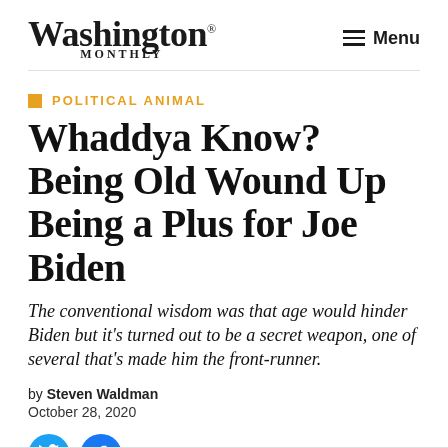Washington Monthly — Menu
POLITICAL ANIMAL
Whaddya Know? Being Old Wound Up Being a Plus for Joe Biden
The conventional wisdom was that age would hinder Biden but it's turned out to be a secret weapon, one of several that's made him the front-runner.
by Steven Waldman
October 28, 2020
[Figure (other): Twitter and Facebook social share buttons (circular blue icons)]